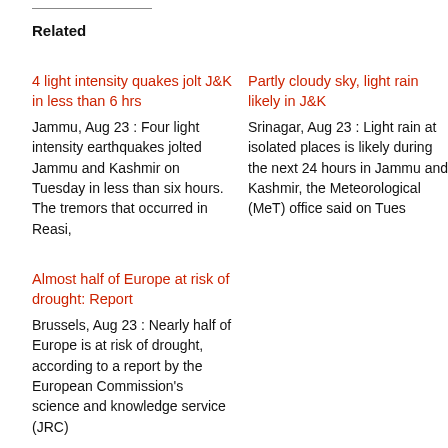Related
4 light intensity quakes jolt J&K in less than 6 hrs
Jammu, Aug 23 : Four light intensity earthquakes jolted Jammu and Kashmir on Tuesday in less than six hours. The tremors that occurred in Reasi,
Partly cloudy sky, light rain likely in J&K
Srinagar, Aug 23 : Light rain at isolated places is likely during the next 24 hours in Jammu and Kashmir, the Meteorological (MeT) office said on Tues
Almost half of Europe at risk of drought: Report
Brussels, Aug 23 : Nearly half of Europe is at risk of drought, according to a report by the European Commission's science and knowledge service (JRC)